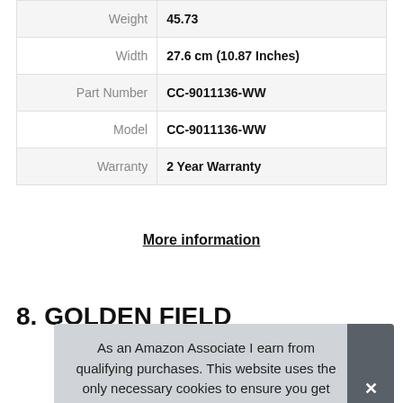| Attribute | Value |
| --- | --- |
| Weight | 45.73 |
| Width | 27.6 cm (10.87 Inches) |
| Part Number | CC-9011136-WW |
| Model | CC-9011136-WW |
| Warranty | 2 Year Warranty |
More information
8. GOLDEN FIELD
As an Amazon Associate I earn from qualifying purchases. This website uses the only necessary cookies to ensure you get the best experience on our website. More information